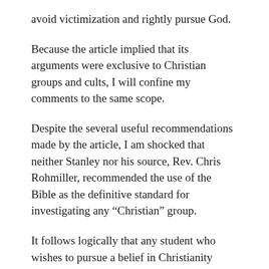avoid victimization and rightly pursue God.
Because the article implied that its arguments were exclusive to Christian groups and cults, I will confine my comments to the same scope.
Despite the several useful recommendations made by the article, I am shocked that neither Stanley nor his source, Rev. Chris Rohmiller, recommended the use of the Bible as the definitive standard for investigating any “Christian” group.
It follows logically that any student who wishes to pursue a belief in Christianity should know in what they are espousing a belief.
The Bible itself recommends this (Acts 17:11). Asking someone to help you to study the Bible (Acts 8:30-31), prior to or concurrent with joining a campus